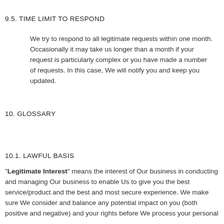9.5. TIME LIMIT TO RESPOND
We try to respond to all legitimate requests within one month. Occasionally it may take us longer than a month if your request is particularly complex or you have made a number of requests. In this case, We will notify you and keep you updated.
10. GLOSSARY
10.1. LAWFUL BASIS
“Legitimate Interest” means the interest of Our business in conducting and managing Our business to enable Us to give you the best service/product and the best and most secure experience. We make sure We consider and balance any potential impact on you (both positive and negative) and your rights before We process your personal